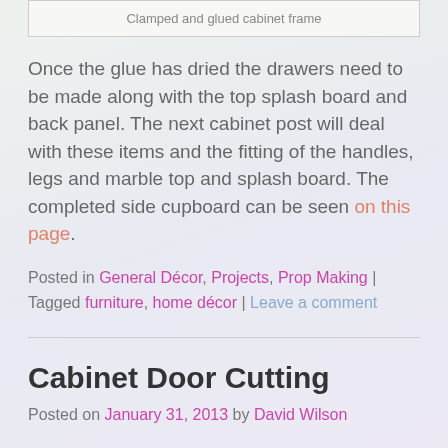Clamped and glued cabinet frame
Once the glue has dried the drawers need to be made along with the top splash board and back panel. The next cabinet post will deal with these items and the fitting of the handles, legs and marble top and splash board. The completed side cupboard can be seen on this page.
Posted in General Décor, Projects, Prop Making | Tagged furniture, home décor | Leave a comment
Cabinet Door Cutting
Posted on January 31, 2013 by David Wilson